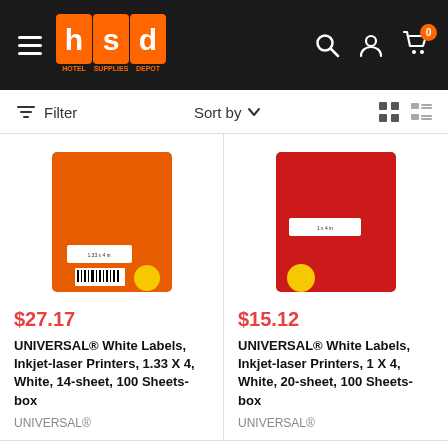HSD Hotel Supplies Depot - header with navigation, search, account, and cart icons
Filter   Sort by   [grid view] [list view]
[Figure (photo): Universal brand orange box of White Labels for Inkjet-laser Printers]
$27.17
UNIVERSAL® White Labels, Inkjet-laser Printers, 1.33 X 4, White, 14-sheet, 100 Sheets-box
UNIVERSAL®
[Figure (photo): Universal brand red box of White Labels for Inkjet-laser Printers]
$15.12
UNIVERSAL® White Labels, Inkjet-laser Printers, 1 X 4, White, 20-sheet, 100 Sheets-box
UNIVERSAL®